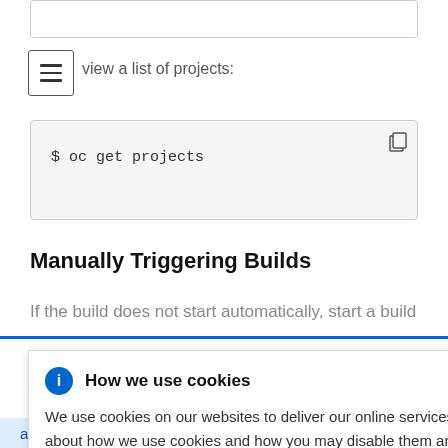[Figure (screenshot): Partial top input/text box cut off at top of page]
[Figure (screenshot): Hamburger menu icon (three horizontal lines in a square border)]
view a list of projects:
[Figure (screenshot): Code block with copy icon showing: $ oc get projects]
Manually Triggering Builds
If the build does not start automatically, start a build
[Figure (screenshot): Cookie consent popup overlaying the page content, with info icon, title 'How we use cookies', close X, and body text about cookies and Privacy Statement link]
after triggering the build, where n is the number of the